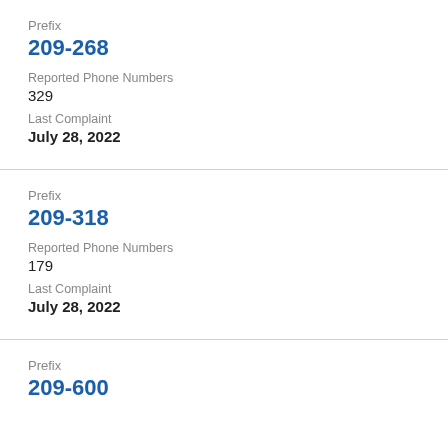Prefix
209-268
Reported Phone Numbers
329
Last Complaint
July 28, 2022
Prefix
209-318
Reported Phone Numbers
179
Last Complaint
July 28, 2022
Prefix
209-600